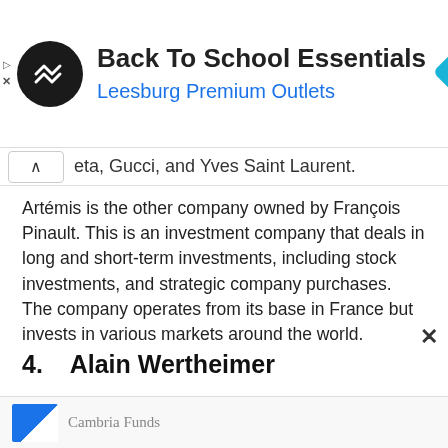[Figure (infographic): Advertisement banner: circular black logo with overlapping arrow symbol, heading 'Back To School Essentials', subtitle 'Leesburg Premium Outlets' in blue, blue diamond arrow icon on the right. Small play and X icons on left edge.]
eta, Gucci, and Yves Saint Laurent.
Artémis is the other company owned by François Pinault. This is an investment company that deals in long and short-term investments, including stock investments, and strategic company purchases. The company operates from its base in France but invests in various markets around the world.
Pinault has now shifted his attention to contemporary art; he has passed the management of the company to his son François-Henri.
4.   Alain Wertheimer
[Figure (logo): Cambria Funds logo at the bottom — partial blue logo icon and 'Cambria Funds' text]